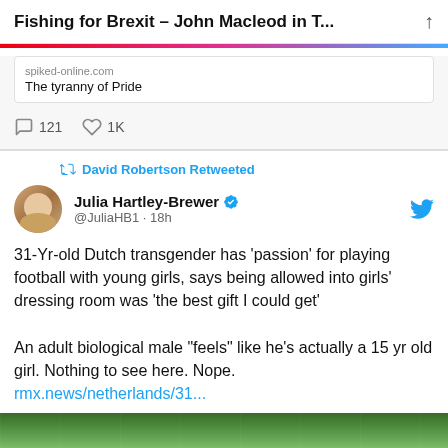Fishing for Brexit – John Macleod in T...
spiked-online.com
The tyranny of Pride
121  1K
David Robertson Retweeted
Julia Hartley-Brewer @JuliaHB1 · 18h
31-Yr-old Dutch transgender has 'passion' for playing football with young girls, says being allowed into girls' dressing room was 'the best gift I could get'

An adult biological male "feels" like he's actually a 15 yr old girl. Nothing to see here. Nope.
rmx.news/netherlands/31...
[Figure (photo): Football stadium pitch photo at bottom of tweet]